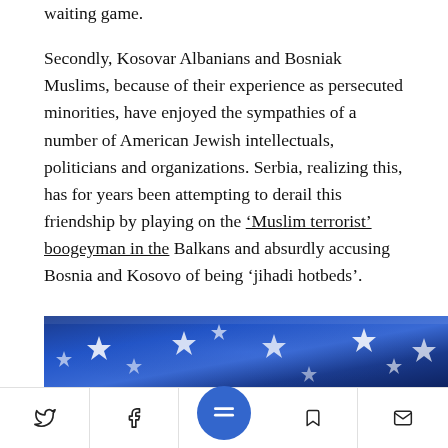waiting game.
Secondly, Kosovar Albanians and Bosniak Muslims, because of their experience as persecuted minorities, have enjoyed the sympathies of a number of American Jewish intellectuals, politicians and organizations. Serbia, realizing this, has for years been attempting to derail this friendship by playing on the ‘Muslim terrorist’ boogeyman in the Balkans and absurdly accusing Bosnia and Kosovo of being ‘jihadi hotbeds’.
[Figure (photo): Partial view of an American flag with white stars on a blue background, shown as a horizontal strip]
Social sharing toolbar with Twitter, Facebook, menu, bookmark, and email icons